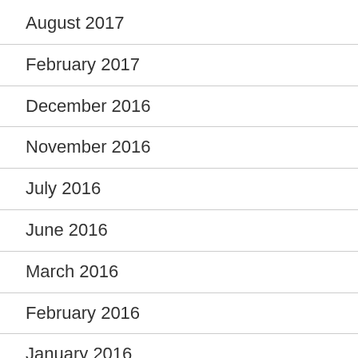August 2017
February 2017
December 2016
November 2016
July 2016
June 2016
March 2016
February 2016
January 2016